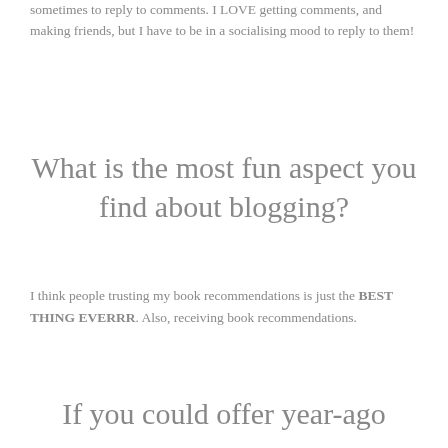sometimes to reply to comments. I LOVE getting comments, and making friends, but I have to be in a socialising mood to reply to them!
What is the most fun aspect you find about blogging?
I think people trusting my book recommendations is just the BEST THING EVERRR. Also, receiving book recommendations.
If you could offer year-ago